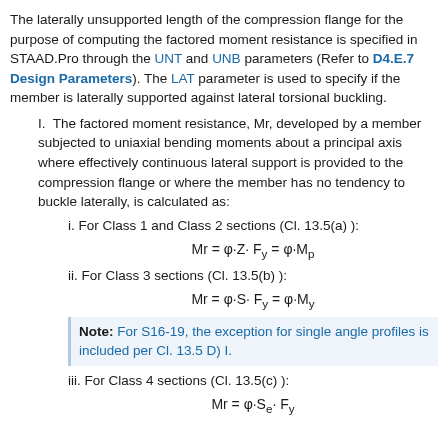The laterally unsupported length of the compression flange for the purpose of computing the factored moment resistance is specified in STAAD.Pro through the UNT and UNB parameters (Refer to D4.E.7 Design Parameters). The LAT parameter is used to specify if the member is laterally supported against lateral torsional buckling.
I. The factored moment resistance, Mr, developed by a member subjected to uniaxial bending moments about a principal axis where effectively continuous lateral support is provided to the compression flange or where the member has no tendency to buckle laterally, is calculated as:
i. For Class 1 and Class 2 sections (Cl. 13.5(a) ):
ii. For Class 3 sections (Cl. 13.5(b) ):
Note: For S16-19, the exception for single angle profiles is included per Cl. 13.5 D) I.
iii. For Class 4 sections (Cl. 13.5(c) ):